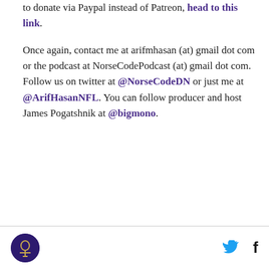to donate via Paypal instead of Patreon, head to this link.
Once again, contact me at arifmhasan (at) gmail dot com or the podcast at NorseCodePodcast (at) gmail dot com. Follow us on twitter at @NorseCodeDN or just me at @ArifHasanNFL. You can follow producer and host James Pogatshnik at @bigmono.
AD
[Figure (logo): Circular logo with dark purple background and stylized figure, likely Norse Code podcast logo]